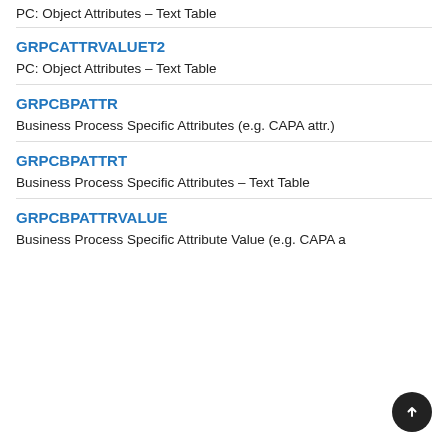PC: Object Attributes – Text Table
GRPCATTRVALUET2
PC: Object Attributes – Text Table
GRPCBPATTR
Business Process Specific Attributes (e.g. CAPA attr.)
GRPCBPATTRT
Business Process Specific Attributes – Text Table
GRPCBPATTRVALUE
Business Process Specific Attribute Value (e.g. CAPA a…